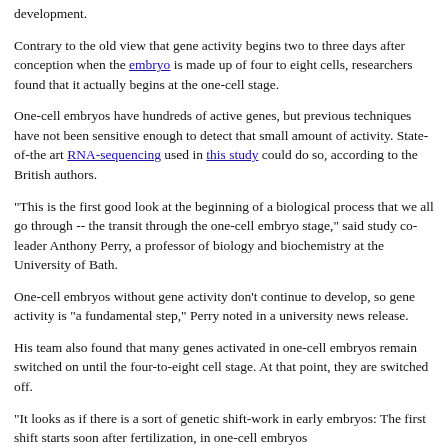development.
Contrary to the old view that gene activity begins two to three days after conception when the embryo is made up of four to eight cells, researchers found that it actually begins at the one-cell stage.
One-cell embryos have hundreds of active genes, but previous techniques have not been sensitive enough to detect that small amount of activity. State-of-the art RNA-sequencing used in this study could do so, according to the British authors.
"This is the first good look at the beginning of a biological process that we all go through -- the transit through the one-cell embryo stage," said study co-leader Anthony Perry, a professor of biology and biochemistry at the University of Bath.
One-cell embryos without gene activity don't continue to develop, so gene activity is "a fundamental step," Perry noted in a university news release.
His team also found that many genes activated in one-cell embryos remain switched on until the four-to-eight cell stage. At that point, they are switched off.
"It looks as if there is a sort of genetic shift-work in early embryos: The first shift starts soon after fertilization, in one-cell embryos